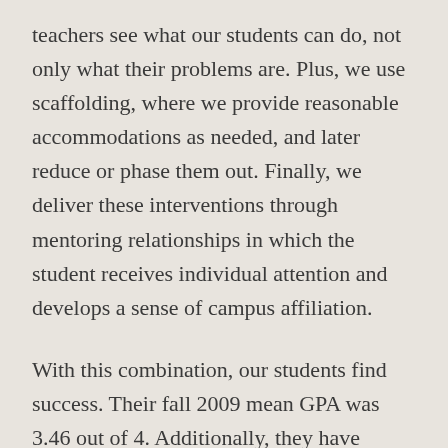teachers see what our students can do, not only what their problems are. Plus, we use scaffolding, where we provide reasonable accommodations as needed, and later reduce or phase them out. Finally, we deliver these interventions through mentoring relationships in which the student receives individual attention and develops a sense of campus affiliation.
With this combination, our students find success. Their fall 2009 mean GPA was 3.46 out of 4. Additionally, they have shown progress in such areas of challenge as submitting assignments on time, displaying appropriate classroom behaviors,